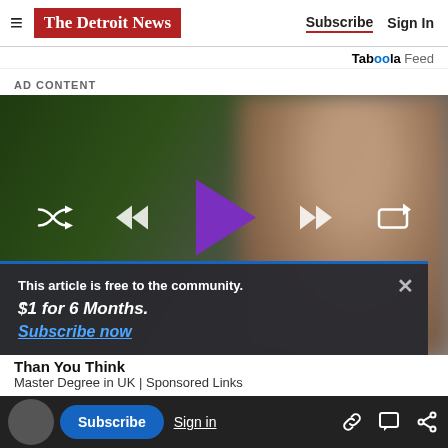The Detroit News | Subscribe | Sign In
Taboola Feed
AD CONTENT
[Figure (screenshot): Video player with blurred background image of a person, showing media playback controls including shuffle, rewind, play (purple triangle), fast-forward, and repeat icons. An overlay popup reads: This article is free to the community. $1 for 6 Months. Subscribe now.]
This article is free to the community.
$1 for 6 Months.
Subscribe now
Than You Think
Master Degree in UK | Sponsored Links